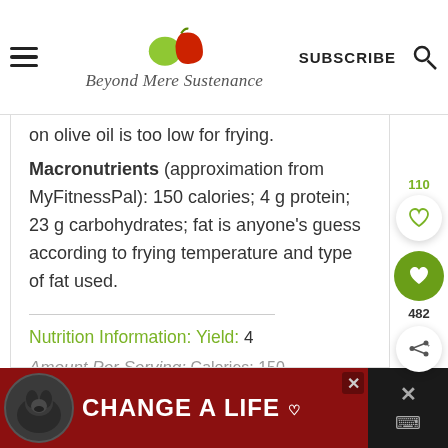Beyond Mere Sustenance
on olive oil is too low for frying.
Macronutrients (approximation from MyFitnessPal): 150 calories; 4 g protein; 23 g carbohydrates; fat is anyone's guess according to frying temperature and type of fat used.
Nutrition Information:  Yield: 4
Amount Per Serving:  Calories: 150
[Figure (screenshot): Ad banner at bottom: black background with dark red panel showing a dog and text 'CHANGE A LIFE']